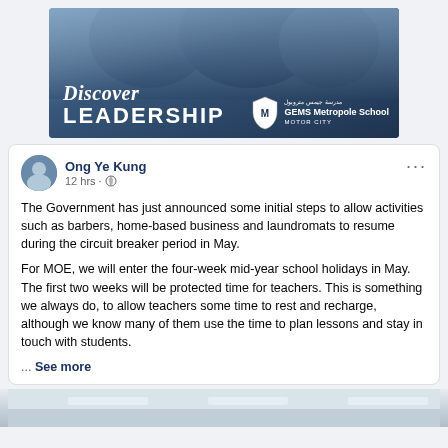[Figure (photo): GEMS Metropole School advertisement banner showing students in school uniforms with text 'Discover LEADERSHIP' and the school logo]
Ong Ye Kung
12 hrs
The Government has just announced some initial steps to allow activities such as barbers, home-based business and laundromats to resume during the circuit breaker period in May.
For MOE, we will enter the four-week mid-year school holidays in May. The first two weeks will be protected time for teachers. This is something we always do, to allow teachers some time to rest and recharge, although we know many of them use the time to plan lessons and stay in touch with students.
... See more
[Figure (photo): Bottom portion of an indoor ceiling/corridor image, partially visible]